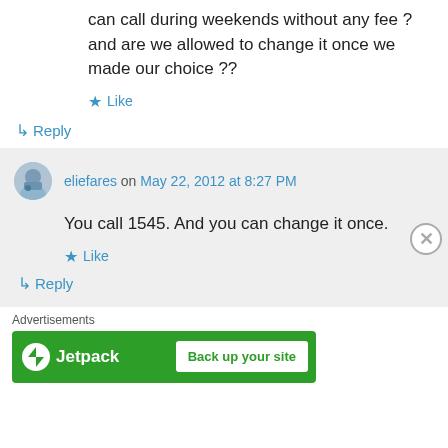can call during weekends without any fee ? and are we allowed to change it once we made our choice ??
★ Like
↳ Reply
eliefares on May 22, 2012 at 8:27 PM
You call 1545. And you can change it once.
★ Like
↳ Reply
Advertisements
[Figure (other): Jetpack advertisement banner with logo and 'Back up your site' button on green background]